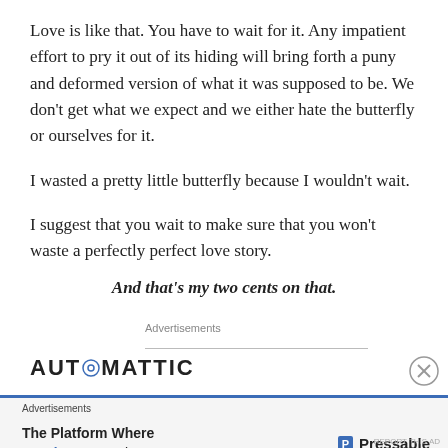Love is like that. You have to wait for it. Any impatient effort to pry it out of its hiding will bring forth a puny and deformed version of what it was supposed to be. We don't get what we expect and we either hate the butterfly or ourselves for it.
I wasted a pretty little butterfly because I wouldn't wait.
I suggest that you wait to make sure that you won't waste a perfectly perfect love story.
And that's my two cents on that.
Advertisements
[Figure (logo): Automattic logo with circular 'O' icon]
[Figure (screenshot): Ad banner: The Platform Where WordPress Works Best — Pressable]
Advertisements
REPORT THIS AD